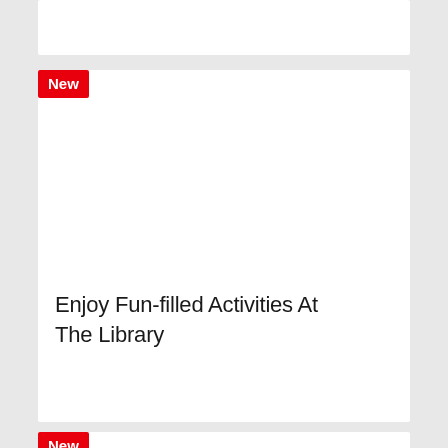[Figure (other): Partial white card at top of page, cropped]
[Figure (other): White card with red 'New' badge and large white image area]
Enjoy Fun-filled Activities At The Library
[Figure (other): Partial bottom card with red 'New' badge, cropped at bottom]